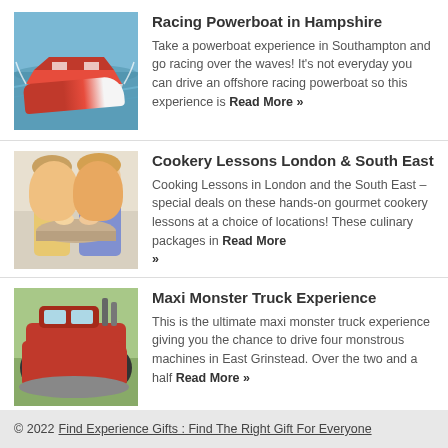[Figure (photo): Photo of a red and white racing powerboat on water]
Racing Powerboat in Hampshire
Take a powerboat experience in Southampton and go racing over the waves! It's not everyday you can drive an offshore racing powerboat so this experience is Read More »
[Figure (photo): Photo of two people doing cookery lessons]
Cookery Lessons London & South East
Cooking Lessons in London and the South East – special deals on these hands-on gourmet cookery lessons at a choice of locations! These culinary packages in Read More »
[Figure (photo): Photo of a red monster truck in a field]
Maxi Monster Truck Experience
This is the ultimate maxi monster truck experience giving you the chance to drive four monstrous machines in East Grinstead. Over the two and a half Read More »
© 2022 Find Experience Gifts : Find The Right Gift For Everyone